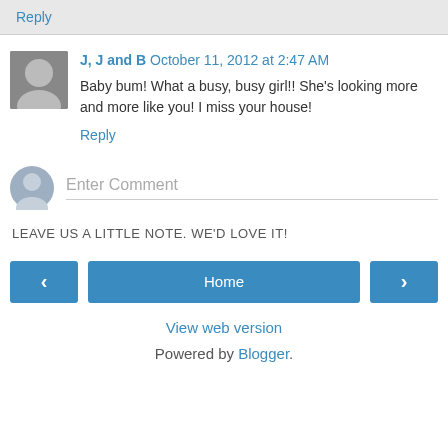Reply
J, J and B  October 11, 2012 at 2:47 AM
Baby bum! What a busy, busy girl!! She's looking more and more like you! I miss your house!
Reply
Enter Comment
LEAVE US A LITTLE NOTE. WE'D LOVE IT!
Home
View web version
Powered by Blogger.